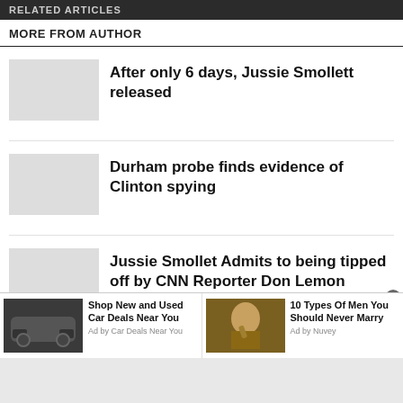RELATED ARTICLES
MORE FROM AUTHOR
After only 6 days, Jussie Smollett released
Durham probe finds evidence of Clinton spying
Jussie Smollet Admits to being tipped off by CNN Reporter Don Lemon
[Figure (photo): Advertisement: SUV car photo with text 'Shop New and Used Car Deals Near You', Ad by Car Deals Near You]
[Figure (photo): Advertisement: Man smoking cigar photo with text '10 Types Of Men You Should Never Marry', Ad by Nuvey]